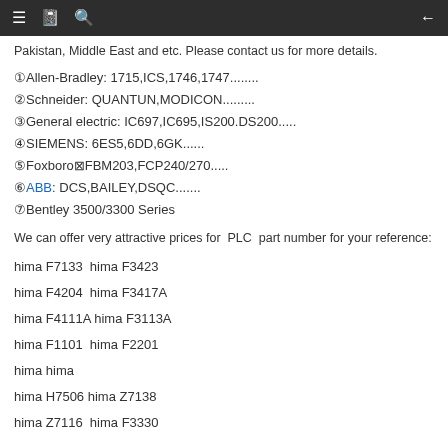[Navigation bar with menu, book, search icons and back arrow]
Pakistan, Middle East and etc. Please contact us for more details.
①Allen-Bradley: 1715,ICS,1746,1747.........
②Schneider: QUANTUN,MODICON..........
③General electric: IC697,IC695,IS200.DS200......
④SIEMENS: 6ES5,6DD,6GK.......
⑤Foxboro☒FBM203,FCP240/270......
⑥ABB: DCS,BAILEY,DSQC.......
⑦Bentley 3500/3300 Series
We can offer very attractive prices for PLC part number for your reference:
hima F7133 hima F3423
hima F4204 hima F3417A
hima F4111A hima F3113A
hima F1101 hima F2201
hima hima
hima H7506 hima Z7138
hima Z7116 hima F3330